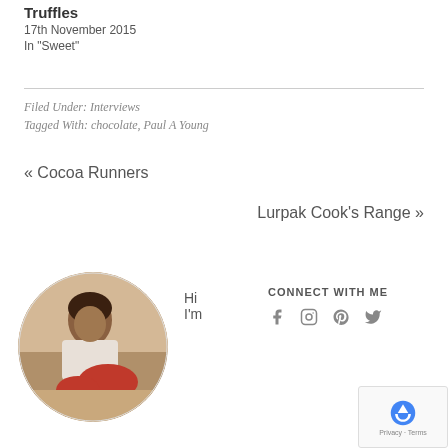Truffles
17th November 2015
In "Sweet"
Filed Under: Interviews
Tagged With: chocolate, Paul A Young
« Cocoa Runners
Lurpak Cook's Range »
Hi
I'm
CONNECT WITH ME
[Figure (photo): Circular profile photo of a person working with red cupcakes/muffins in a kitchen setting]